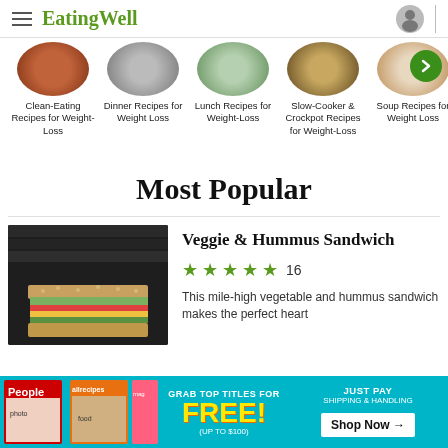EatingWell
[Figure (photo): Horizontal scrollable list of food category circles: Clean-Eating Recipes for Weight-Loss, Dinner Recipes for Weight Loss, Lunch Recipes for Weight-Loss, Slow-Cooker & Crockpot Recipes for Weight-Loss, Soup Recipes for Weight Loss]
Clean-Eating Recipes for Weight-Loss
Dinner Recipes for Weight Loss
Lunch Recipes for Weight-Loss
Slow-Cooker & Crockpot Recipes for Weight-Loss
Soup Recipes for Weight Loss
Most Popular
[Figure (photo): Photo of a veggie and hummus sandwich on dark wooden background]
Veggie & Hummus Sandwich
★★★★★ 16
This mile-high vegetable and hummus sandwich makes the perfect heart
[Figure (photo): Advertisement banner: GRAB TOP TITLES FOR FREE! (UP TO $100) - JUST PAY SHIPPING & HANDLING - Shop Now →. Features People and allrecipes magazine covers.]